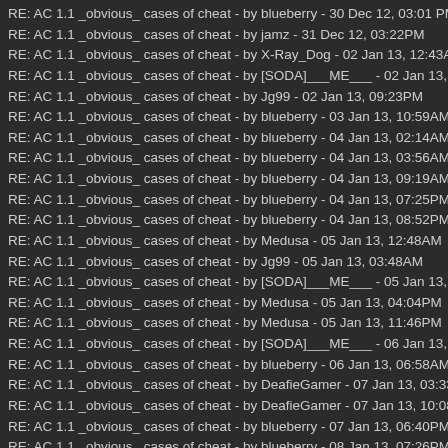RE: AC 1.1 _obvious_ cases of cheat - by blueberry - 30 Dec 12, 03:01 PM
RE: AC 1.1 _obvious_ cases of cheat - by jamz - 31 Dec 12, 03:22PM
RE: AC 1.1 _obvious_ cases of cheat - by X-Ray_Dog - 02 Jan 13, 12:43AM
RE: AC 1.1 _obvious_ cases of cheat - by [SODA]___ME___ - 02 Jan 13, 03:29
RE: AC 1.1 _obvious_ cases of cheat - by Jg99 - 02 Jan 13, 09:23PM
RE: AC 1.1 _obvious_ cases of cheat - by blueberry - 03 Jan 13, 10:59AM
RE: AC 1.1 _obvious_ cases of cheat - by blueberry - 04 Jan 13, 02:14AM
RE: AC 1.1 _obvious_ cases of cheat - by blueberry - 04 Jan 13, 03:56AM
RE: AC 1.1 _obvious_ cases of cheat - by blueberry - 04 Jan 13, 09:19AM
RE: AC 1.1 _obvious_ cases of cheat - by blueberry - 04 Jan 13, 07:25PM
RE: AC 1.1 _obvious_ cases of cheat - by blueberry - 04 Jan 13, 08:52PM
RE: AC 1.1 _obvious_ cases of cheat - by Medusa - 05 Jan 13, 12:48AM
RE: AC 1.1 _obvious_ cases of cheat - by Jg99 - 05 Jan 13, 03:48AM
RE: AC 1.1 _obvious_ cases of cheat - by [SODA]___ME___ - 05 Jan 13, 04:43
RE: AC 1.1 _obvious_ cases of cheat - by Medusa - 05 Jan 13, 04:04PM
RE: AC 1.1 _obvious_ cases of cheat - by Medusa - 05 Jan 13, 11:46PM
RE: AC 1.1 _obvious_ cases of cheat - by [SODA]___ME___ - 06 Jan 13, 06:38
RE: AC 1.1 _obvious_ cases of cheat - by blueberry - 06 Jan 13, 06:58AM
RE: AC 1.1 _obvious_ cases of cheat - by DeafieGamer - 07 Jan 13, 03:33AM
RE: AC 1.1 _obvious_ cases of cheat - by DeafieGamer - 07 Jan 13, 10:08AM
RE: AC 1.1 _obvious_ cases of cheat - by blueberry - 07 Jan 13, 06:40PM
RE: AC 1.1 _obvious_ cases of cheat - by blueberry - 08 Jan 13, 07:26PM
RE: AC 1.1 _obvious_ cases of cheat - by Medusa - 08 Jan 13, 11:10PM
RE: AC 1.1 _obvious_ cases of cheat - by Medusa - 09 Jan 13, 11:29AM
RE: AC 1.1 _obvious_ cases of cheat - by blueberry - 10 Jan 13, 05:38AM